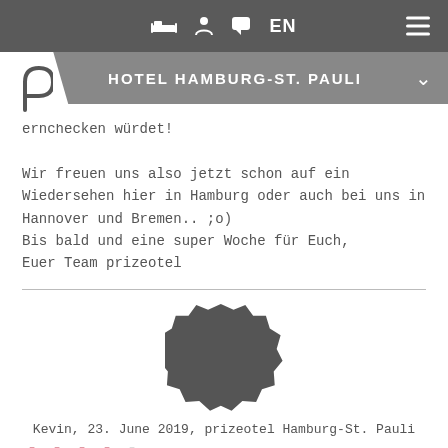EN  (navigation bar with icons)
HOTEL HAMBURG-ST. PAULI
ernchecken würdet!
Wir freuen uns also jetzt schon auf ein Wiedersehen hier in Hamburg oder auch bei uns in Hannover und Bremen.. ;o)
Bis bald und eine super Woche für Euch,
Euer Team prizeotel
[Figure (illustration): Dark gray badge/seal shaped avatar icon for reviewer]
Kevin, 23. June 2019, prizeotel Hamburg-St. Pauli
atmosphere (4 out of 5 stars rating)